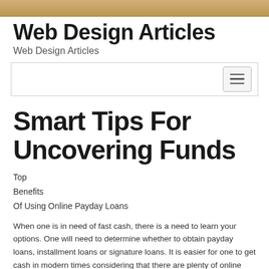[Figure (photo): Decorative banner image at top of page with brownish/sandy texture]
Web Design Articles
Web Design Articles
[Figure (other): Navigation bar with toggle/hamburger button on the right]
Smart Tips For Uncovering Funds
Top
Benefits
Of Using Online Payday Loans
When one is in need of fast cash, there is a need to learn your options. One will need to determine whether to obtain payday loans, installment loans or signature loans. It is easier for one to get cash in modern times considering that there are plenty of online lenders providing quick cash.